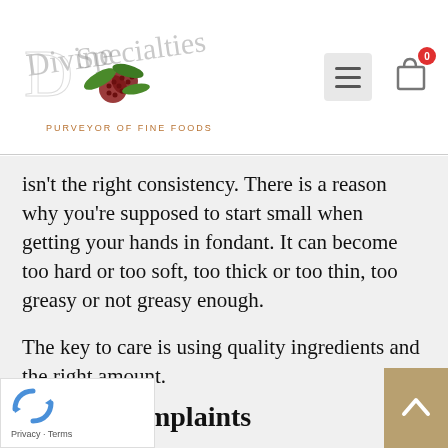Divine Specialties — Purveyor of Fine Foods (logo/nav bar)
isn't the right consistency. There is a reason why you're supposed to start small when getting your hands in fondant. It can become too hard or too soft, too thick or too thin, too greasy or not greasy enough.
The key to care is using quality ingredients and the right amount.
Color Complaints